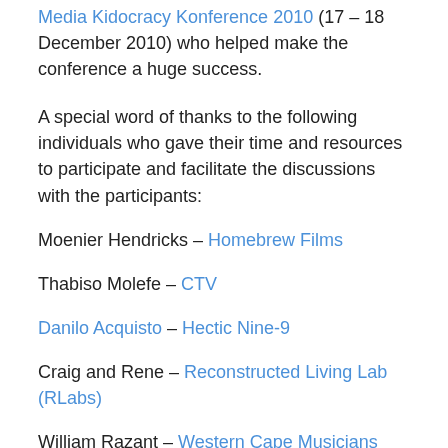Media Kidocracy Konference 2010 (17 – 18 December 2010) who helped make the conference a huge success.
A special word of thanks to the following individuals who gave their time and resources to participate and facilitate the discussions with the participants:
Moenier Hendricks – Homebrew Films
Thabiso Molefe – CTV
Danilo Acquisto – Hectic Nine-9
Craig and Rene – Reconstructed Living Lab (RLabs)
William Razant – Western Cape Musicians Association (WCMA)
Calvin Peters – Entertainment Entrepreneur / Music Producer